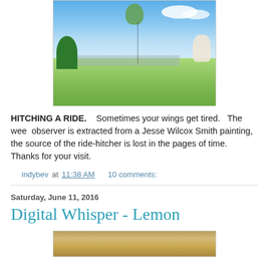[Figure (illustration): A whimsical illustration showing a fairy-like figure in a green dress flying/floating in a blue sky, with a string connecting to a small child sitting on green grass below, trees on the left and a city skyline in the background.]
HITCHING A RIDE.    Sometimes your wings get tired.   The wee  observer is extracted from a Jesse Wilcox Smith painting, the source of the ride-hitcher is lost in the pages of time.  Thanks for your visit.
indybev at 11:38 AM    10 comments:
Saturday, June 11, 2016
Digital Whisper - Lemon
[Figure (illustration): Partial view of a second blog post image, showing a textured golden-brown background, partially visible at the bottom of the page.]